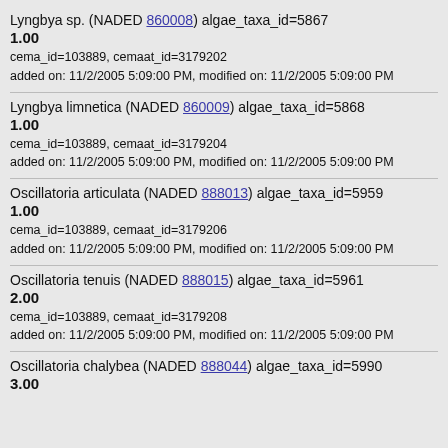Lyngbya sp. (NADED 860008) algae_taxa_id=5867
1.00
cema_id=103889, cemaat_id=3179202
added on: 11/2/2005 5:09:00 PM, modified on: 11/2/2005 5:09:00 PM
Lyngbya limnetica (NADED 860009) algae_taxa_id=5868
1.00
cema_id=103889, cemaat_id=3179204
added on: 11/2/2005 5:09:00 PM, modified on: 11/2/2005 5:09:00 PM
Oscillatoria articulata (NADED 888013) algae_taxa_id=5959
1.00
cema_id=103889, cemaat_id=3179206
added on: 11/2/2005 5:09:00 PM, modified on: 11/2/2005 5:09:00 PM
Oscillatoria tenuis (NADED 888015) algae_taxa_id=5961
2.00
cema_id=103889, cemaat_id=3179208
added on: 11/2/2005 5:09:00 PM, modified on: 11/2/2005 5:09:00 PM
Oscillatoria chalybea (NADED 888044) algae_taxa_id=5990
3.00